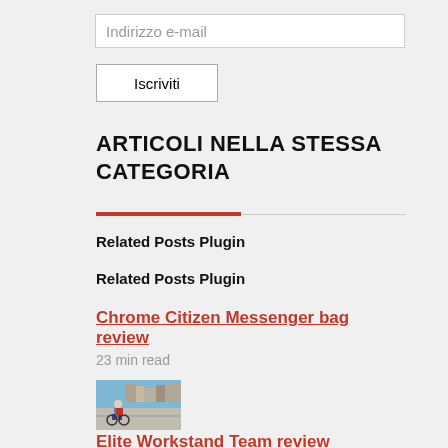Indirizzo e-mail
Iscriviti
ARTICOLI NELLA STESSA CATEGORIA
Related Posts Plugin
Related Posts Plugin
Chrome Citizen Messenger bag review
23 min read
[Figure (photo): Person cycling on a road with a messenger bag, urban background with buildings]
Elite Workstand Team review